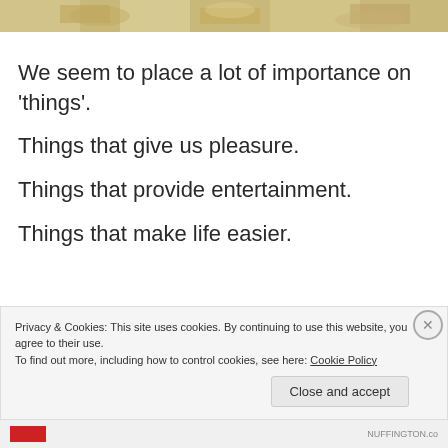[Figure (photo): Partial hero image at top showing a textured golden/wheat-colored background]
We seem to place a lot of importance on 'things'.
Things that give us pleasure.
Things that provide entertainment.
Things that make life easier.
Privacy & Cookies: This site uses cookies. By continuing to use this website, you agree to their use.
To find out more, including how to control cookies, see here: Cookie Policy
Close and accept